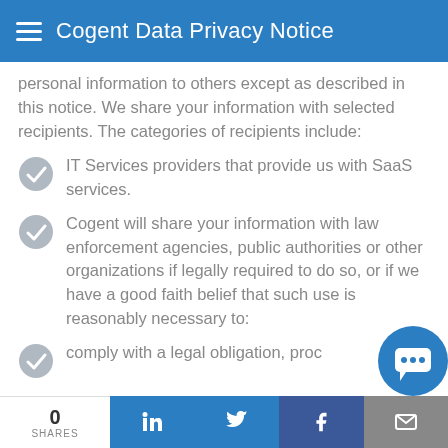Cogent Data Privacy Notice
personal information to others except as described in this notice. We share your information with selected recipients. The categories of recipients include:
IT Services providers that provide us with SaaS services.
Cogent will share your information with law enforcement agencies, public authorities or other organizations if legally required to do so, or if we have a good faith belief that such use is reasonably necessary to:
comply with a legal obligation, proc…
0 SHARES